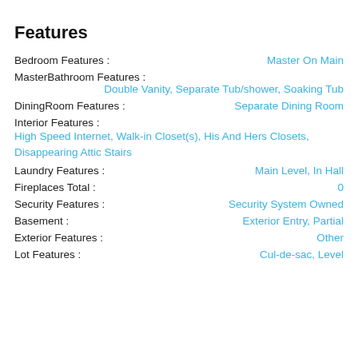Features
Bedroom Features :    Master On Main
MasterBathroom Features :    Double Vanity, Separate Tub/shower, Soaking Tub
DiningRoom Features :    Separate Dining Room
Interior Features :    High Speed Internet, Walk-in Closet(s), His And Hers Closets, Disappearing Attic Stairs
Laundry Features :    Main Level, In Hall
Fireplaces Total :    0
Security Features :    Security System Owned
Basement :    Exterior Entry, Partial
Exterior Features :    Other
Lot Features :    Cul-de-sac, Level